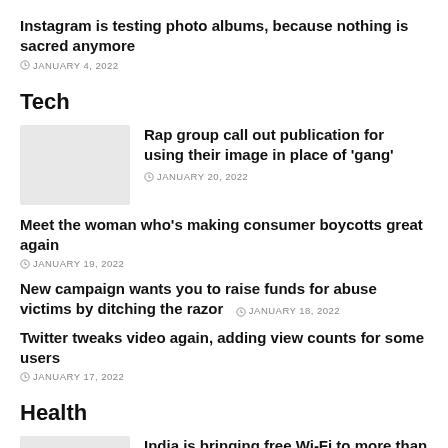Instagram is testing photo albums, because nothing is sacred anymore
JANUARY 4, 2022
Tech
Rap group call out publication for using their image in place of 'gang'
JANUARY 20, 2022
Meet the woman who's making consumer boycotts great again
JANUARY 19, 2022
New campaign wants you to raise funds for abuse victims by ditching the razor
JANUARY 18, 2022
Twitter tweaks video again, adding view counts for some users
JANUARY 17, 2022
Health
India is bringing free Wi-Fi to more than 1,000